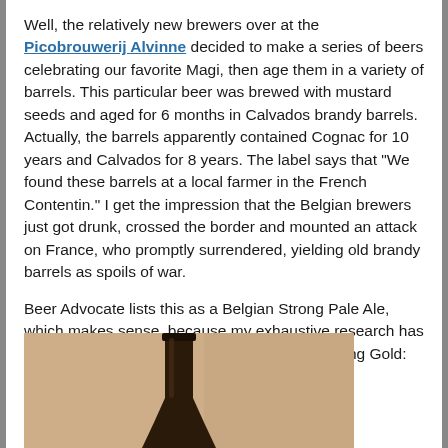Well, the relatively new brewers over at the Picobrouwerij Alvinne decided to make a series of beers celebrating our favorite Magi, then age them in a variety of barrels. This particular beer was brewed with mustard seeds and aged for 6 months in Calvados brandy barrels. Actually, the barrels apparently contained Cognac for 10 years and Calvados for 8 years. The label says that "We found these barrels at a local farmer in the French Contentin." I get the impression that the Belgian brewers just got drunk, crossed the border and mounted an attack on France, who promptly surrendered, yielding old brandy barrels as spoils of war.
Beer Advocate lists this as a Belgian Strong Pale Ale, which makes sense, because my exhaustive research has revealed that Melchior was likely the king carrying Gold:
[Figure (photo): A dark brown beer bottle neck photographed against a warm tan/beige background, bottom portion of image]